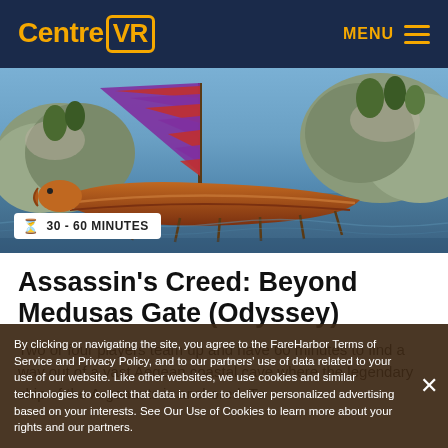Centre VR  MENU
[Figure (screenshot): Hero image of an ancient Greek ship/boat on water near rocky coastal cliffs, with a purple/red striped sail, from the video game Assassin's Creed Odyssey. A white badge overlay reads '30 - 60 MINUTES' with an hourglass icon.]
Assassin's Creed: Beyond Medusas Gate (Odyssey)
Two or four players team up and have 60 minutes to find a way out of a vast Aegean coastal cave where the legendary ship of the Argonauts is anchored. To
By clicking or navigating the site, you agree to the FareHarbor Terms of Service and Privacy Policy, and to our partners' use of data related to your use of our website. Like other websites, we use cookies and similar technologies to collect that data in order to deliver personalized advertising based on your interests. See Our Use of Cookies to learn more about your rights and our partners.